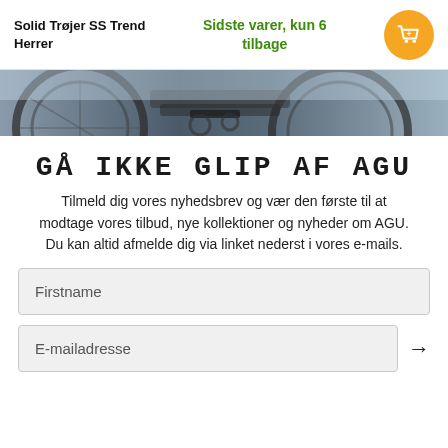Solid Trøjer SS Trend Herrer
Sidste varer, kun 6 tilbage
[Figure (photo): Bicycle wheel and frame close-up photo strip]
GÅ IKKE GLIP AF AGU
Tilmeld dig vores nyhedsbrev og vær den første til at modtage vores tilbud, nye kollektioner og nyheder om AGU. Du kan altid afmelde dig via linket nederst i vores e-mails.
Firstname
E-mailadresse